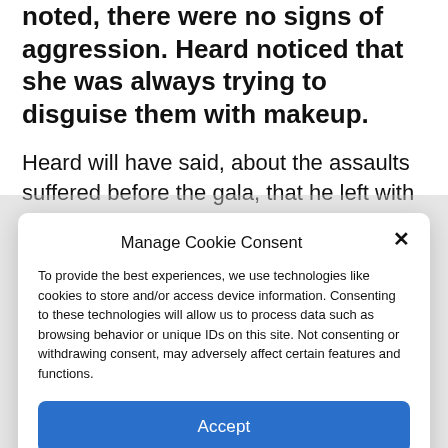noted, there were no signs of aggression. Heard noticed that she was always trying to disguise them with makeup.
Heard will have said, about the assaults suffered before the gala, that he left with the “feeling of having his nose broken”. Depp’s team was again inspired by photos from the
Manage Cookie Consent
To provide the best experiences, we use technologies like cookies to store and/or access device information. Consenting to these technologies will allow us to process data such as browsing behavior or unique IDs on this site. Not consenting or withdrawing consent, may adversely affect certain features and functions.
Accept